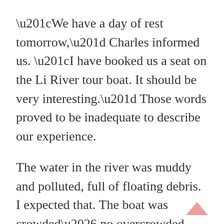“We have a day of rest tomorrow,” Charles informed us. “I have booked us a seat on the Li River tour boat. It should be very interesting.” Those words proved to be inadequate to describe our experience.
The water in the river was muddy and polluted, full of floating debris. I expected that. The boat was crowded… no overcrowded would be more accurate. If you got out of your seat to take a picture, forget it. A Chinese person on holiday was in your seat… and they wouldn’t get up. One’s only hope was to play the same game. Within a half hour, none of our